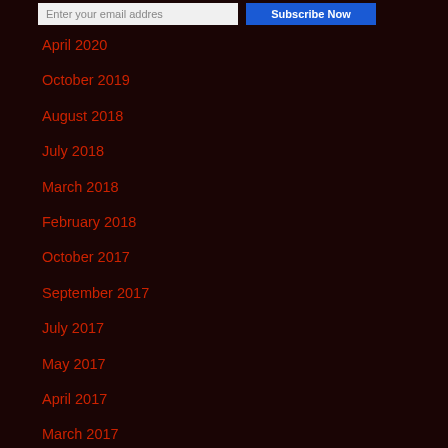Enter your email address | Subscribe Now
April 2020
October 2019
August 2018
July 2018
March 2018
February 2018
October 2017
September 2017
July 2017
May 2017
April 2017
March 2017
February 2017
January 2017